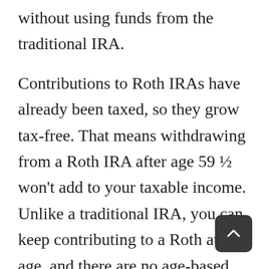without using funds from the traditional IRA.
Contributions to Roth IRAs have already been taxed, so they grow tax-free. That means withdrawing from a Roth IRA after age 59 ½ won't add to your taxable income. Unlike a traditional IRA, you can keep contributing to a Roth at any age, and there are no age-based distribution requirements. You can keep saving and earning tax-free as long as you like.
If you will be in a higher tax bracket in retirement, a Roth IRA can be a helpful tax-planning tool.